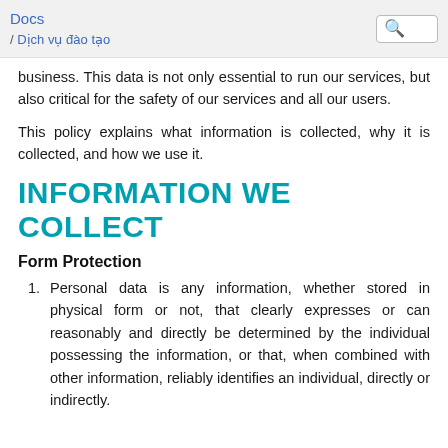Docs / Dịch vụ đào tạo
business. This data is not only essential to run our services, but also critical for the safety of our services and all our users.
This policy explains what information is collected, why it is collected, and how we use it.
INFORMATION WE COLLECT
Form Protection
Personal data is any information, whether stored in physical form or not, that clearly expresses or can reasonably and directly be determined by the individual possessing the information, or that, when combined with other information, reliably identifies an individual, directly or indirectly.